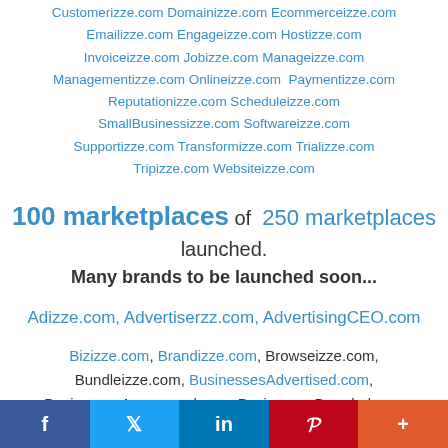Customerizze.com Domainizze.com Ecommerceizze.com Emailizze.com Engageizze.com Hostizze.com Invoiceizze.com Jobizze.com Manageizze.com Managementizze.com Onlineizze.com Paymentizze.com Reputationizze.com Scheduleizze.com SmallBusinessizze.com Softwareizze.com Supportizze.com Transformizze.com Trializze.com Tripizze.com Websiteizze.com
100 marketplaces of 250 marketplaces launched. Many brands to be launched soon...
Adizze.com, Advertiserzz.com, AdvertisingCEO.com
Bizizze.com, Brandizze.com, Browseizze.com, Bundleizze.com, BusinessesAdvertised.com, BusinessesAnnounced.com, BusinessesBranded.com
f  t  in  P  +